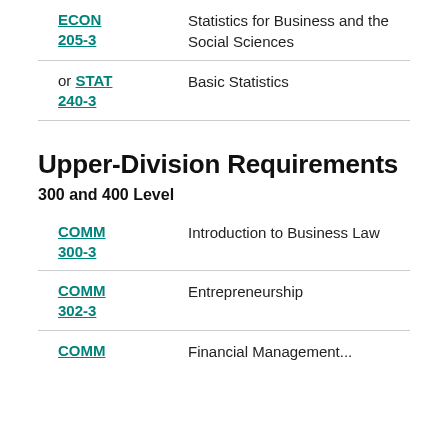ECON 205-3 — Statistics for Business and the Social Sciences
or STAT 240-3 — Basic Statistics
Upper-Division Requirements
300 and 400 Level
COMM 300-3 — Introduction to Business Law
COMM 302-3 — Entrepreneurship
COMM — Financial Management...